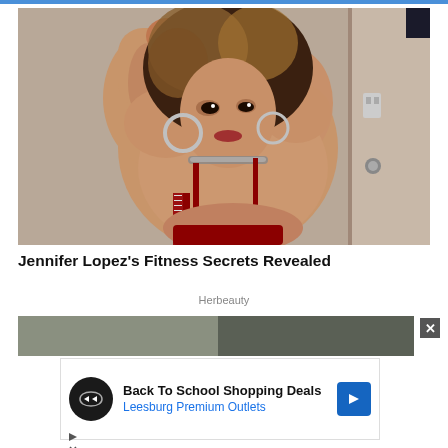[Figure (photo): Woman in a red backless dress posing looking over her shoulder, with blonde highlighted hair, hoop earrings and a choker necklace, in front of a door]
Jennifer Lopez's Fitness Secrets Revealed
Herbeauty
[Figure (photo): Partial screenshot of a second article image below]
Back To School Shopping Deals
Leesburg Premium Outlets